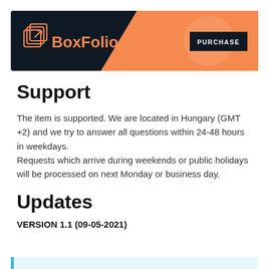[Figure (logo): BoxFolio logo banner with dark background, orange chevron shape, logo icon, brand name 'BoxFolio' in orange, and a 'PURCHASE' button]
Support
The item is supported. We are located in Hungary (GMT +2) and we try to answer all questions within 24-48 hours in weekdays.
Requests which arrive during weekends or public holidays will be processed on next Monday or business day.
Updates
VERSION 1.1 (09-05-2021)